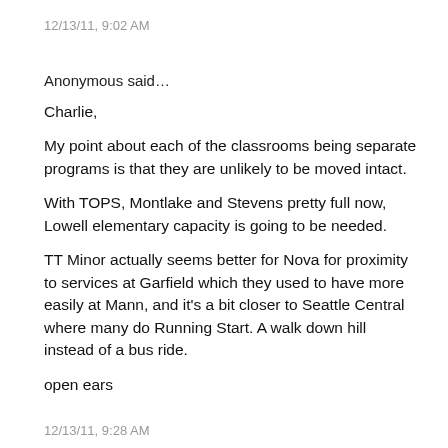12/13/11, 9:02 AM
Anonymous said…
Charlie,
My point about each of the classrooms being separate programs is that they are unlikely to be moved intact.
With TOPS, Montlake and Stevens pretty full now, Lowell elementary capacity is going to be needed.
TT Minor actually seems better for Nova for proximity to services at Garfield which they used to have more easily at Mann, and it's a bit closer to Seattle Central where many do Running Start. A walk down hill instead of a bus ride.
open ears
12/13/11, 9:28 AM